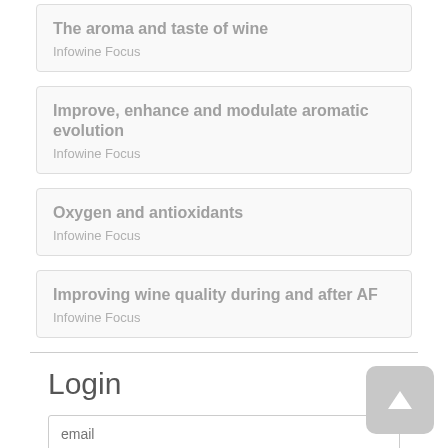The aroma and taste of wine
Infowine Focus
Improve, enhance and modulate aromatic evolution
Infowine Focus
Oxygen and antioxidants
Infowine Focus
Improving wine quality during and after AF
Infowine Focus
Login
email
••••••••